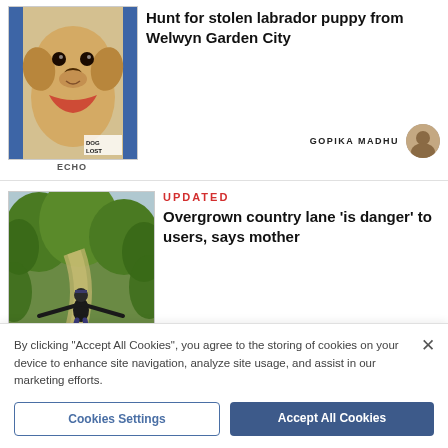Hunt for stolen labrador puppy from Welwyn Garden City
GOPIKA MADHU
UPDATED
Overgrown country lane 'is danger' to users, says mother
MATT ADAMS
By clicking "Accept All Cookies", you agree to the storing of cookies on your device to enhance site navigation, analyze site usage, and assist in our marketing efforts.
Cookies Settings
Accept All Cookies